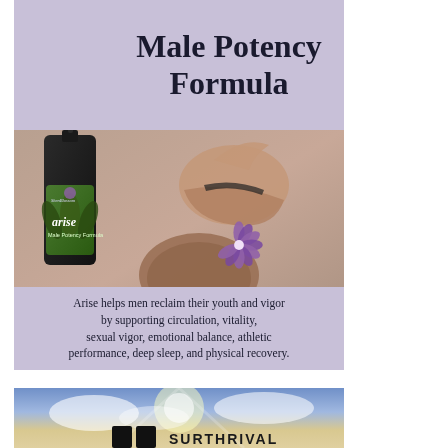Male Potency Formula
[Figure (photo): Product bottle labeled 'arise Male Potency Formula' by ShenBlossom next to a couple lying together, with a lotus flower logo and ShenBlossom branding]
Arise helps men reclaim their youth and vigor by supporting circulation, vitality, sexual vigor, emotional balance, athletic performance, deep sleep, and physical recovery.
[Figure (photo): Sky with clouds and sunlight, with product bottles and text 'SURTHRIVAL' partially visible at bottom]